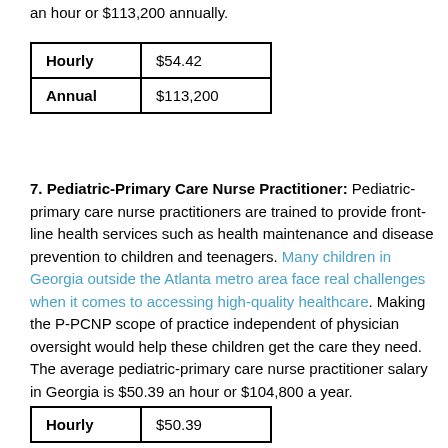an hour or $113,200 annually.
| Hourly | $54.42 |
| Annual | $113,200 |
7. Pediatric-Primary Care Nurse Practitioner: Pediatric-primary care nurse practitioners are trained to provide front-line health services such as health maintenance and disease prevention to children and teenagers. Many children in Georgia outside the Atlanta metro area face real challenges when it comes to accessing high-quality healthcare. Making the P-PCNP scope of practice independent of physician oversight would help these children get the care they need. The average pediatric-primary care nurse practitioner salary in Georgia is $50.39 an hour or $104,800 a year.
| Hourly | $50.39 |